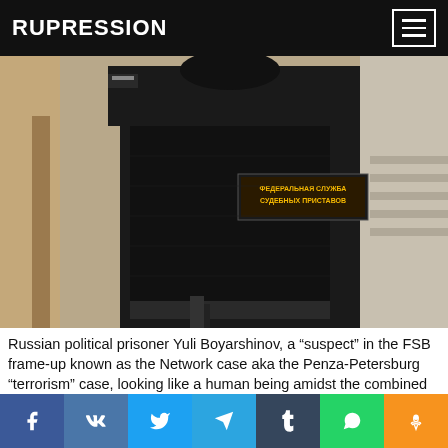RUPRESSION
[Figure (photo): A Russian law enforcement officer in black tactical gear with 'ФЕДЕРАЛЬНАЯ СЛУЖБА СУДЕБНЫХ ПРИСТАВОВ' (Federal Bailiff Service) patch on their back, standing in a corridor or doorway, viewed from behind.]
Russian political prisoner Yuli Boyarshinov, a “suspect” in the FSB frame-up known as the Network case aka the Penza-Petersburg “terrorism” case, looking like a human being amidst the combined armed guard of regular police and riot police at Petersburg’s